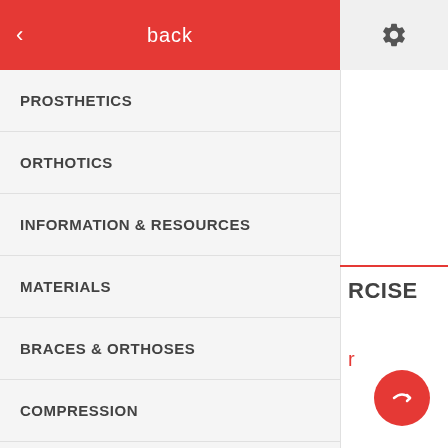back
PROSTHETICS
ORTHOTICS
INFORMATION & RESOURCES
MATERIALS
BRACES & ORTHOSES
COMPRESSION
DIAGNOSTIC & REAL TIME ULTRASOUND
EDUCATION & EVALUATION